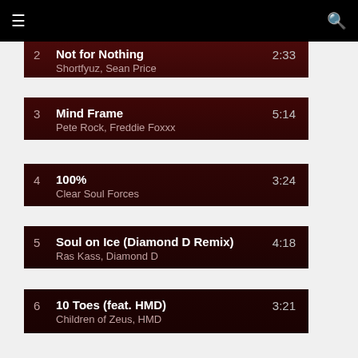Navigation bar with menu and search icons
2  Not for Nothing  2:33  Shortfyuz, Sean Price
3  Mind Frame  5:14  Pete Rock, Freddie Foxxx
4  100%  3:24  Clear Soul Forces
5  Soul on Ice (Diamond D Remix)  4:18  Ras Kass, Diamond D
6  10 Toes (feat. HMD)  3:21  Children of Zeus, HMD
TWITTER
RapReviews.com #BlackLivesMatter #GileadOutlaw
[Figure (logo): RapReviews.com logo — red circular emblem with stylized R and microphone shape]